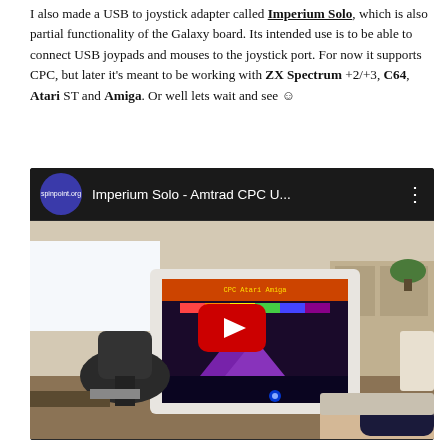I also made a USB to joystick adapter called Imperium Solo, which is also partial functionality of the Galaxy board. Its intended use is to be able to connect USB joypads and mouses to the joystick port. For now it supports CPC, but later it's meant to be working with ZX Spectrum +2/+3, C64, Atari ST and Amiga. Or well lets wait and see ☺
[Figure (screenshot): YouTube video embed showing 'Imperium Solo - Amtrad CPC U...' with a photo of a computer monitor displaying a game and someone holding a gamepad]